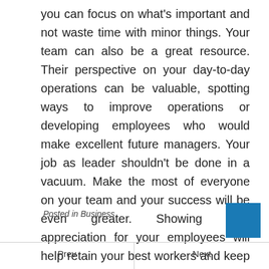you can focus on what's important and not waste time with minor things. Your team can also be a great resource. Their perspective on your day-to-day operations can be valuable, spotting ways to improve operations or developing employees who would make excellent future managers. Your job as leader shouldn't be done in a vacuum. Make the most of everyone on your team and your success will be even greater. Showing your appreciation for your employees will help retain your best workers and keep them motivated.
Posted in Business
Prev  Next